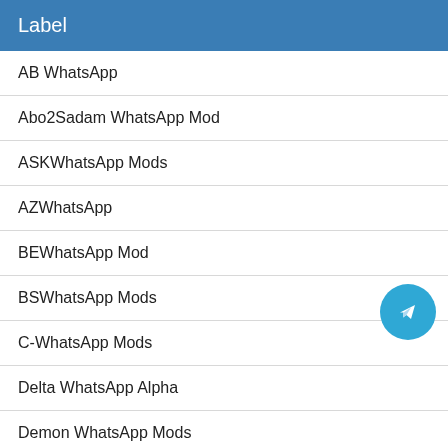Label
AB WhatsApp
Abo2Sadam WhatsApp Mod
ASKWhatsApp Mods
AZWhatsApp
BEWhatsApp Mod
BSWhatsApp Mods
C-WhatsApp Mods
Delta WhatsApp Alpha
Demon WhatsApp Mods
DKWhatsApp Mods
FMWhatsApp Mod